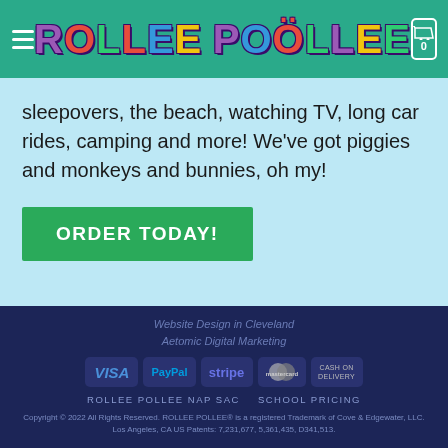ROLLEE POLLEE
sleepovers, the beach, watching TV, long car rides, camping and more! We've got piggies and monkeys and bunnies, oh my!
ORDER TODAY!
Website Design in Cleveland
Aetomic Digital Marketing
[Figure (other): Payment method badges: VISA, PayPal, stripe, MasterCard, CASH ON DELIVERY]
ROLLEE POLLEE NAP SAC   SCHOOL PRICING
Copyright © 2022 All Rights Reserved. ROLLEE POLLEE® is a registered Trademark of Cove & Edgewater, LLC. Los Angeles, CA US Patents: 7,231,677, 5,361,435, D341,513.